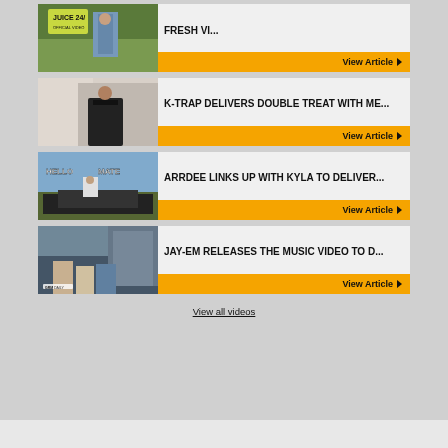[Figure (screenshot): Thumbnail image for FRESH VI... article - outdoor scene with person]
FRESH VI...
View Article
[Figure (screenshot): Thumbnail image for K-Trap article - person against wall in black outfit]
K-TRAP DELIVERS DOUBLE TREAT WITH ME...
View Article
[Figure (screenshot): Thumbnail image for ArrDee article - outdoor scene with vehicles, HELLO MATE text overlay]
ARRDEE LINKS UP WITH KYLA TO DELIVER...
View Article
[Figure (screenshot): Thumbnail image for Jay-Em article - GRM Daily, group of people outside urban setting]
JAY-EM RELEASES THE MUSIC VIDEO TO D...
View Article
View all videos